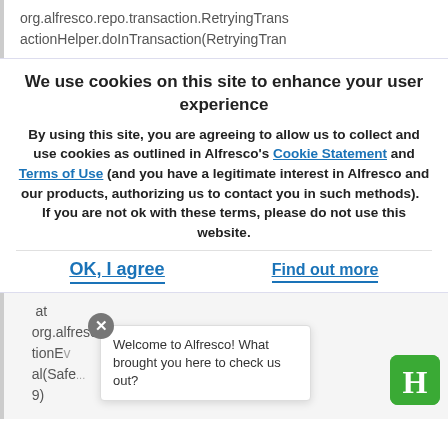org.alfresco.repo.transaction.RetryingTransactionHelper.doInTransaction(RetryingTran
We use cookies on this site to enhance your user experience
By using this site, you are agreeing to allow us to collect and use cookies as outlined in Alfresco's Cookie Statement and Terms of Use (and you have a legitimate interest in Alfresco and our products, authorizing us to contact you in such methods).   If you are not ok with these terms, please do not use this website.
OK, I agree
Find out more
at
org.alfresco.repo.management.SafeApplicationEvent.eal(Safe...
Welcome to Alfresco! What brought you here to check us out?